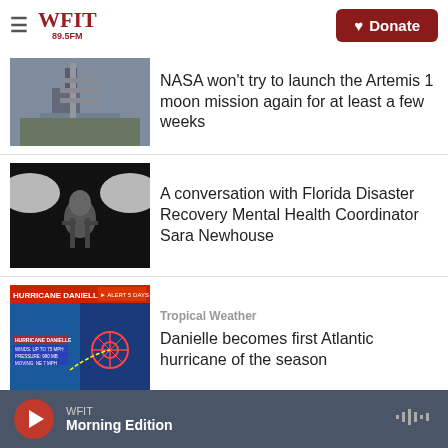WFIT 89.5FM | Donate
[Figure (photo): Space launch pad with rocket, outdoor setting]
NASA won't try to launch the Artemis 1 moon mission again for at least a few weeks
[Figure (photo): Black and white image of a person in a dramatic pose under bright lights]
A conversation with Florida Disaster Recovery Mental Health Coordinator Sara Newhouse
Tropical Weather
[Figure (screenshot): Hurricane Danielle weather map showing Atlantic storm track]
Danielle becomes first Atlantic hurricane of the season
WFIT Morning Edition